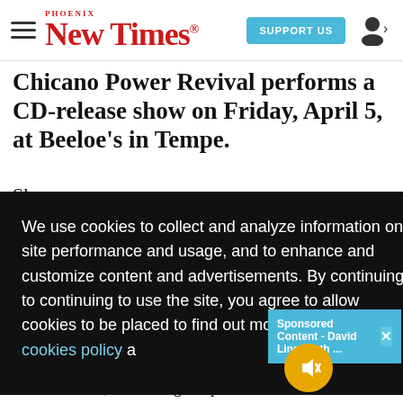Phoenix New Times | SUPPORT US
Chicano Power Revival performs a CD-release show on Friday, April 5, at Beeloe's in Tempe.
We use cookies to collect and analyze information on site performance and usage, and to enhance and customize content and advertisements. By continuing to use the site, you agree to allow cookies to be placed. To find out more, visit our cookies policy a...
Sponsored Content - David Lingmerth ...
Got it!
oice
advertisements, continuing to optimize the